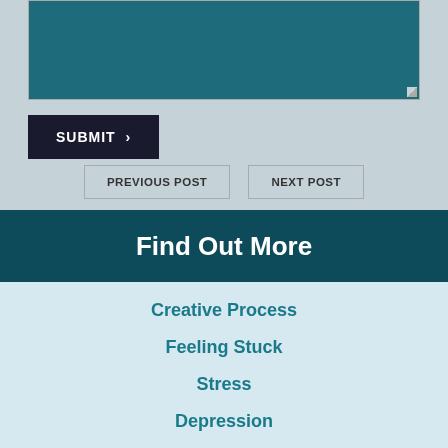[Figure (screenshot): Teal textarea input box with resize handle in bottom-right corner]
SUBMIT >
PREVIOUS POST
NEXT POST
Find Out More
Creative Process
Feeling Stuck
Stress
Depression
Down But Not Clinically Depressed
Anxiety